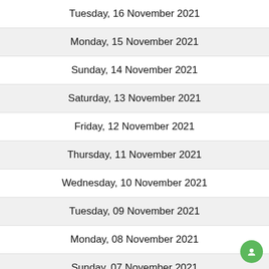Tuesday, 16 November 2021
Monday, 15 November 2021
Sunday, 14 November 2021
Saturday, 13 November 2021
Friday, 12 November 2021
Thursday, 11 November 2021
Wednesday, 10 November 2021
Tuesday, 09 November 2021
Monday, 08 November 2021
Sunday, 07 November 2021